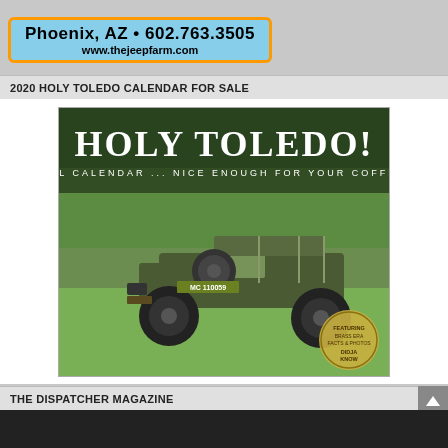[Figure (other): Advertisement for The Jeep Farm with light blue background and orange border. Text reads: Phoenix, AZ • 602.763.3505, www.thejeepfarm.com]
2020 HOLY TOLEDO CALENDAR FOR SALE
[Figure (photo): Cover of the Holy Toledo! 2020 Wall Calendar featuring a military WWII era Willys Jeep (MC 110059) parked on grass with trees in the background. Title text says 'HOLY TOLEDO!' with subtitle '2020 WALL CALENDAR ... NICE ENOUGH FOR YOUR COFFEE TABLE'. Bottom right shows a circular badge reading 'FEATURING BRASS ERA FACTS & PHOTOS / DIDJA KNOW'.]
THE DISPATCHER MAGAZINE
[Figure (photo): Partial image at the bottom — dark/black colored background, appears to be a vehicle or magazine image, mostly cropped.]